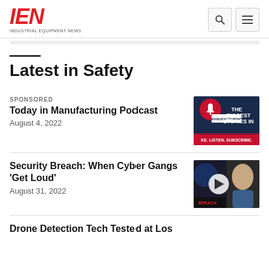IEN INDUSTRIAL EQUIPMENT NEWS
Latest in Safety
SPONSORED
Today in Manufacturing Podcast
August 4, 2022
[Figure (photo): Today in Manufacturing Podcast thumbnail showing microphone with text: THE BIGGEST STORIES IN MANUFACTURING. LIKE. LISTEN. SUBSCRIBE.]
Security Breach: When Cyber Gangs 'Get Loud'
August 31, 2022
[Figure (photo): Video thumbnail showing person with play button overlay, text: BREACH]
Drone Detection Tech Tested at Los